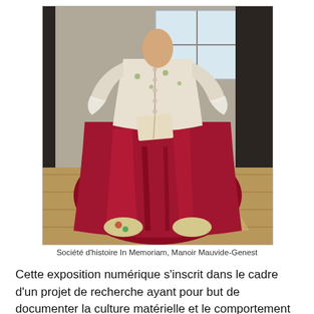[Figure (photo): A mannequin or figure dressed in 18th-century French costume: a white floral bodice with lace sleeves and a large shiny crimson/burgundy satin skirt, holding a book, with embroidered shoes visible at the bottom. The figure is posed seated in a room with a wooden floor and window in the background.]
Société d'histoire In Memoriam, Manoir Mauvide-Genest
Cette exposition numérique s'inscrit dans le cadre d'un projet de recherche ayant pour but de documenter la culture matérielle et le comportement de la haute société